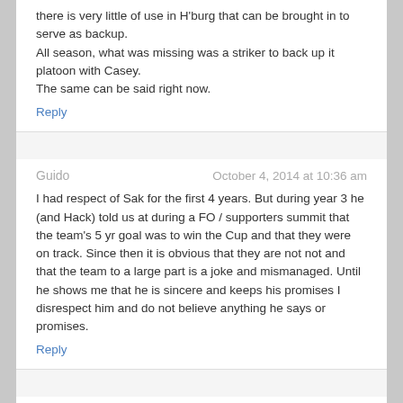there is very little of use in H'burg that can be brought in to serve as backup.
All season, what was missing was a striker to back up it platoon with Casey.
The same can be said right now.
Reply
Guido	October 4, 2014 at 10:36 am
I had respect of Sak for the first 4 years. But during year 3 he (and Hack) told us at during a FO / supporters summit that the team's 5 yr goal was to win the Cup and that they were on track. Since then it is obvious that they are not not and that the team to a large part is a joke and mismanaged. Until he shows me that he is sincere and keeps his promises I disrespect him and do not believe anything he says or promises.
Reply
philpill	October 4, 2014 at 10:58 am